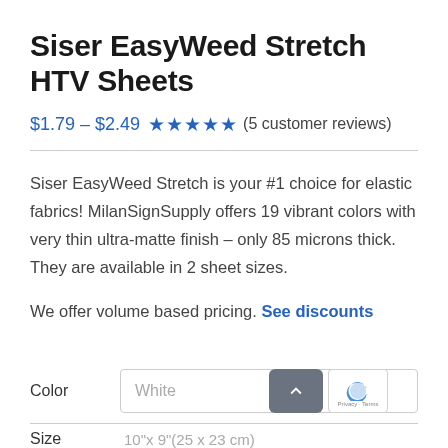Siser EasyWeed Stretch HTV Sheets
$1.79 – $2.49 ★★★★★ (5 customer reviews)
Siser EasyWeed Stretch is your #1 choice for elastic fabrics! MilanSignSupply offers 19 vibrant colors with very thin ultra-matte finish – only 85 microns thick. They are available in 2 sheet sizes.
We offer volume based pricing. See discounts
Color   White
Size   10"x 9"(25 x 23 cm)